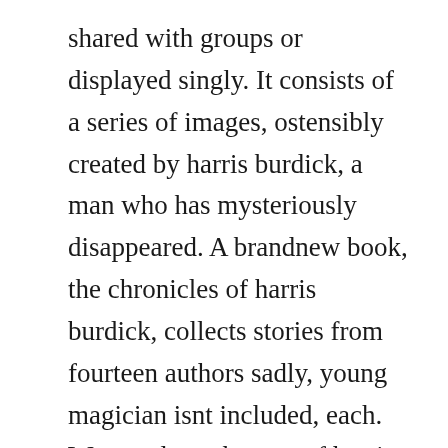shared with groups or displayed singly. It consists of a series of images, ostensibly created by harris burdick, a man who has mysteriously disappeared. A brandnew book, the chronicles of harris burdick, collects stories from fourteen authors sadly, young magician isnt included, each. We acted out the part of harris burdick and the publisher and then asked the children to be the author of the missing stories. Our group presented this book to a variety of children ages four to nine years old. The mysteries of harris burdick book,